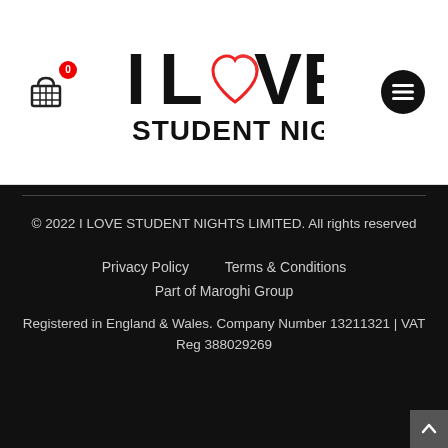I LOVE STUDENT NIGHTS — site header with cart icon (badge: 0) and menu button
© 2022 I LOVE STUDENT NIGHTS LIMITED. All rights reserved
Privacy Policy   Terms & Conditions
Part of Maroghi Group
Registered in England & Wales. Company Number 13211321 | VAT Reg 388029269